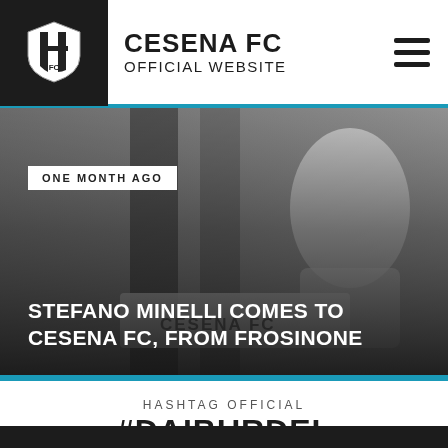CESENA FC OFFICIAL WEBSITE
[Figure (photo): Hero image of a football player holding a Cesena FC jersey, dark overlay with text overlay]
ONE MONTH AGO
STEFANO MINELLI COMES TO CESENA FC, FROM FROSINONE
HASHTAG OFFICIAL
#DAIBURDEL